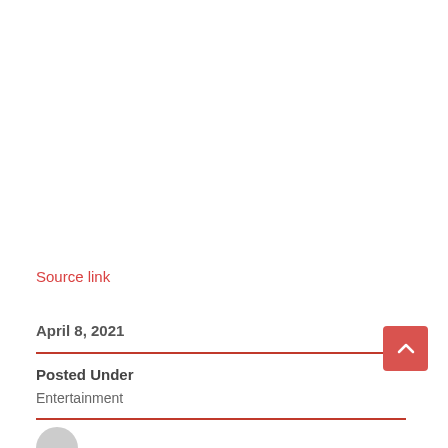Source link
April 8, 2021
Posted Under
Entertainment